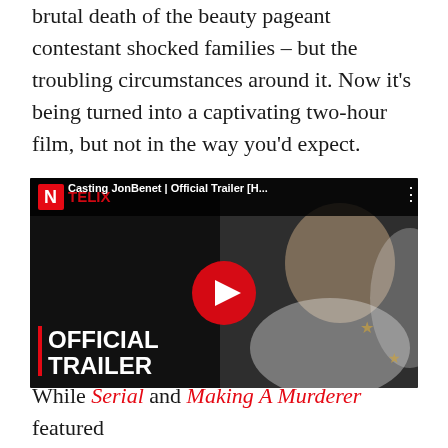brutal death of the beauty pageant contestant shocked families – but the troubling circumstances around it. Now it's being turned into a captivating two-hour film, but not in the way you'd expect.
[Figure (screenshot): YouTube/Netflix embedded video thumbnail for 'Casting JonBenet | Official Trailer [H…' showing a young girl in a white feathered costume with a red play button overlay and 'OFFICIAL TRAILER' text at the bottom left with a red vertical bar.]
While Serial and Making A Murderer featured